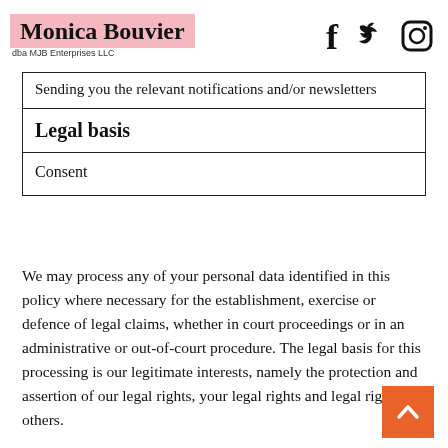Monica Bouvier dba MJB Enterprises LLC
| Sending you the relevant notifications and/or newsletters |
| Legal basis |
| Consent |
We may process any of your personal data identified in this policy where necessary for the establishment, exercise or defence of legal claims, whether in court proceedings or in an administrative or out-of-court procedure. The legal basis for this processing is our legitimate interests, namely the protection and assertion of our legal rights, your legal rights and legal rights of others.